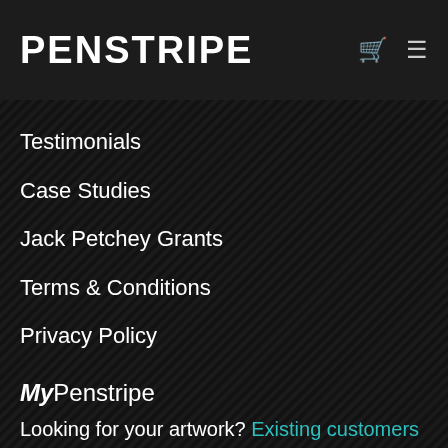PENSTRIPE
Testimonials
Case Studies
Jack Petchey Grants
Terms & Conditions
Privacy Policy
MyPenstripe
Looking for your artwork? Existing customers click here to visit MyPenstripe
0113 231 0995
info@penstripe.co.uk